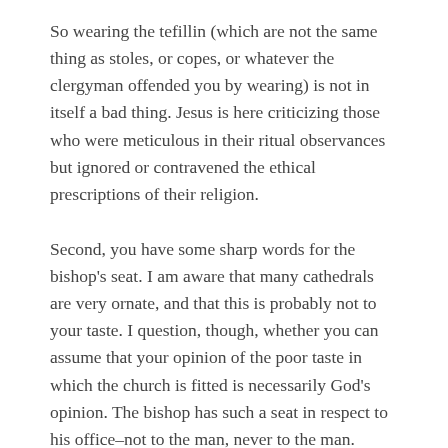So wearing the tefillin (which are not the same thing as stoles, or copes, or whatever the clergyman offended you by wearing) is not in itself a bad thing. Jesus is here criticizing those who were meticulous in their ritual observances but ignored or contravened the ethical prescriptions of their religion.
Second, you have some sharp words for the bishop's seat. I am aware that many cathedrals are very ornate, and that this is probably not to your taste. I question, though, whether you can assume that your opinion of the poor taste in which the church is fitted is necessarily God's opinion. The bishop has such a seat in respect to his office–not to the man, never to the man. Anglicanism, like other churches which believe in the historic